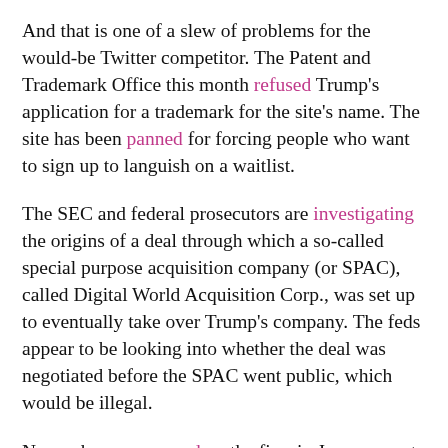And that is one of a slew of problems for the would-be Twitter competitor. The Patent and Trademark Office this month refused Trump's application for a trademark for the site's name. The site has been panned for forcing people who want to sign up to languish on a waitlist.
The SEC and federal prosecutors are investigating the origins of a deal through which a so-called special purpose acquisition company (or SPAC), called Digital World Acquisition Corp., was set up to eventually take over Trump's company. The feds appear to be looking into whether the deal was negotiated before the SPAC went public, which would be illegal.
New subpoenas served on the firm in June suggest the probe could be expanding. News of the federal scrutiny has contributed to the company's stock price falling 75 percent since its peak, with reported